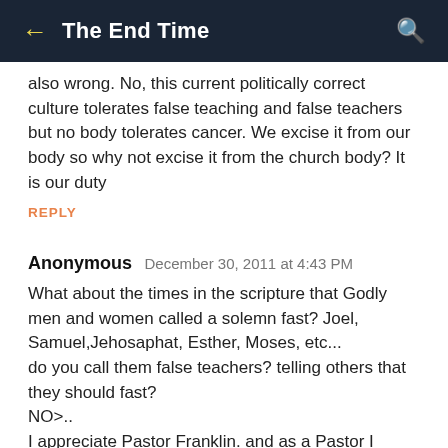← The End Time 🔍
also wrong. No, this current politically correct culture tolerates false teaching and false teachers but no body tolerates cancer. We excise it from our body so why not excise it from the church body? It is our duty
REPLY
Anonymous  December 30, 2011 at 4:43 PM
What about the times in the scripture that Godly men and women called a solemn fast? Joel, Samuel,Jehosaphat, Esther, Moses, etc...
do you call them false teachers? telling others that they should fast?
NO>..
I appreciate Pastor Franklin. and as a Pastor I encourage my church to fast too.
Leaders are given that place to LEAD
REPLY